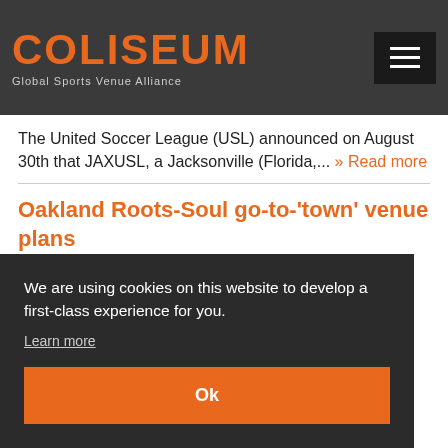COLISEUM Global Sports Venue Alliance
The United Soccer League (USL) announced on August 30th that JAXUSL, a Jacksonville (Florida,... » Read more
Oakland Roots-Soul go-to-'town' venue plans
We are using cookies on this website to develop a first-class experience for you.
Learn more
Ok